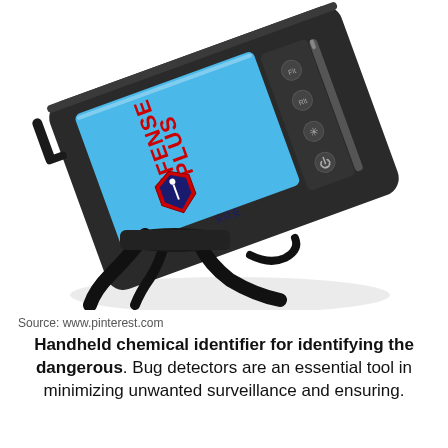[Figure (photo): A handheld black electronic device (DefensePlus branded chemical identifier/bug detector) photographed at an angle, showing a blue screen display with the DefensePlus logo and Chinese characters, control buttons on the right side, and black carrying straps hanging from the bottom. White background.]
Source: www.pinterest.com
Handheld chemical identifier for identifying the dangerous. Bug detectors are an essential tool in minimizing unwanted surveillance and ensuring.